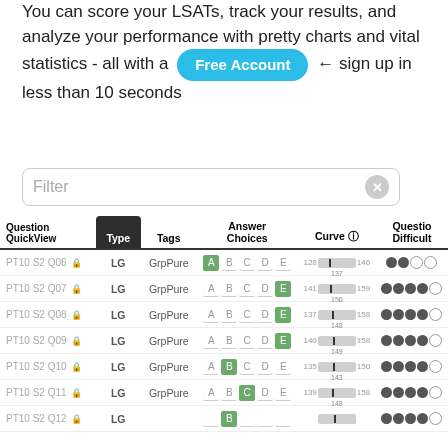This is question data from the YouGo LSAT Scorer. You can score your LSATs, track your results, and analyze your performance with pretty charts and vital statistics - all with a Free Account ← sign up in less than 10 seconds
| Question QuickView | Type | Tags | Answer Choices | Curve | Question Difficulty |
| --- | --- | --- | --- | --- | --- |
| PT10 S2 Q06 🔒 | LG | GrpPure | A B C D E (A correct) | 128|137|146 | ●●○○ |
| PT10 S2 Q07 🔒 | LG | GrpPure | A B C D E (E correct) | 141|150|159 | ●●●●○ |
| PT10 S2 Q08 🔒 | LG | GrpPure | A B C D E (E correct) | 137|148|158 | ●●●●○ |
| PT10 S2 Q09 🔒 | LG | GrpPure | A B C D E (E correct) | 140|149|158 | ●●●●○ |
| PT10 S2 Q10 🔒 | LG | GrpPure | A B C D E (B correct) | 135|143|150 | ●●●●○ |
| PT10 S2 Q11 🔒 | LG | GrpPure | A B C D E (C correct) | 139|148|158 | ●●●●○ |
| PT10 S2 Q12 🔒 | LG | GrpPure | A B C D E (B correct) | ... | ●●●●○ |